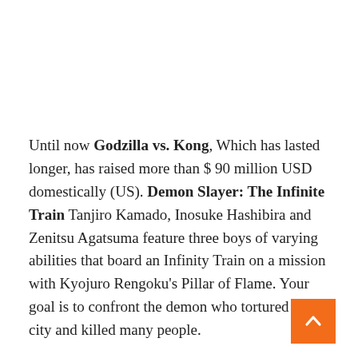Until now Godzilla vs. Kong, Which has lasted longer, has raised more than $ 90 million USD domestically (US). Demon Slayer: The Infinite Train Tanjiro Kamado, Inosuke Hashibira and Zenitsu Agatsuma feature three boys of varying abilities that board an Infinity Train on a mission with Kyojuro Rengoku's Pillar of Flame. Your goal is to confront the demon who tortured the city and killed many people.